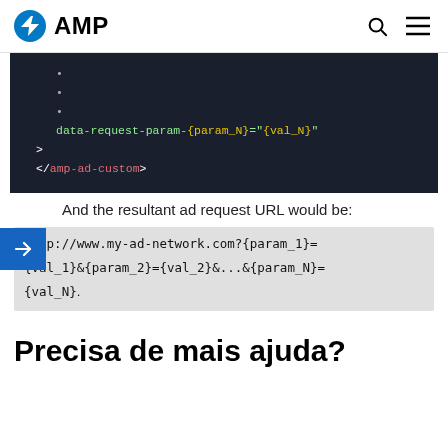AMP
[Figure (screenshot): Dark code block showing HTML attribute: data-request-param-{param_N}="{val_N}" followed by > and </amp-ad-custom>]
And the resultant ad request URL would be:
http://www.my-ad-network.com?{param_1}={val_1}&{param_2}={val_2}&...&{param_N}={val_N}.
Precisa de mais ajuda?